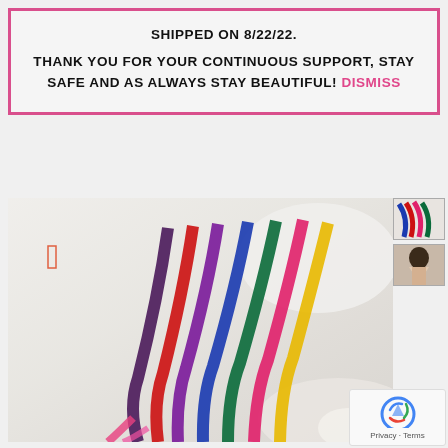SHIPPED ON 8/22/22.

THANK YOU FOR YOUR CONTINUOUS SUPPORT, STAY SAFE AND AS ALWAYS STAY BEAUTIFUL! DISMISS
[Figure (photo): Colorful hair extensions fanned out on a white fabric surface, showing multiple colors including dark purple, red, purple, blue, teal/green, pink, and yellow stripes curving across the image. Two small thumbnail images appear in the top right corner. A reCAPTCHA widget appears in the bottom right corner with Privacy and Terms text.]